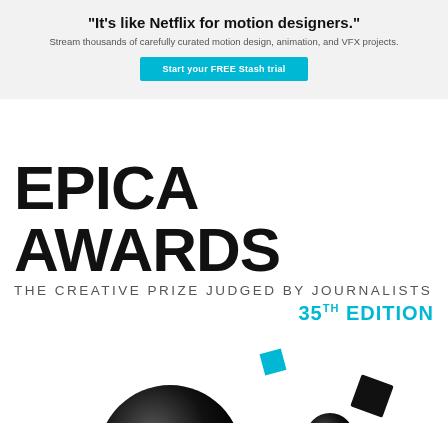"It's like Netflix for motion designers."
Stream thousands of carefully curated motion design, animation, and VFX projects.
Start your FREE Stash trial
[Figure (logo): EPICA AWARDS branding block: large bold black text 'EPICA AWARDS', subtitle 'THE CREATIVE PRIZE JUDGED BY JOURNALISTS', and '35TH EDITION' in cyan/teal bold text aligned right.]
[Figure (illustration): Bottom partial illustration showing 3D black spheres and geometric shapes (cube, small sphere, diamond) with a small teal square, partially cropped at bottom of page.]